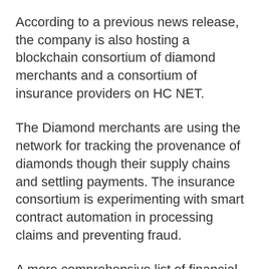According to a previous news release, the company is also hosting a blockchain consortium of diamond merchants and a consortium of insurance providers on HC NET.
The Diamond merchants are using the network for tracking the provenance of diamonds though their supply chains and settling payments. The insurance consortium is experimenting with smart contract automation in processing claims and preventing fraud.
A more comprehensive list of financial organizations on HC NET is available on HashCash partners page.
This year HashCash and a few of its Banking partners have come out and made joint announcements of their collaborations.